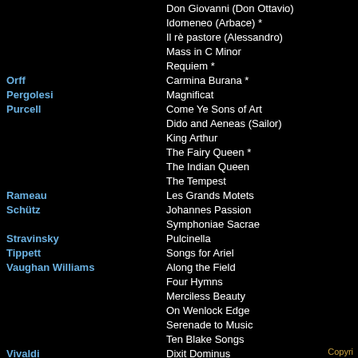Don Giovanni (Don Ottavio)
Idomeneo (Arbace) *
Il rè pastore (Alessandro)
Mass in C Minor
Requiem *
Orff — Carmina Burana *
Pergolesi — Magnificat
Purcell — Come Ye Sons of Art
Dido and Aeneas (Sailor)
King Arthur
The Fairy Queen *
The Indian Queen
The Tempest
Rameau — Les Grands Motets
Schütz — Johannes Passion
Symphoniae Sacrae
Stravinsky — Pulcinella
Tippett — Songs for Ariel
Vaughan Williams — Along the Field
Four Hymns
Merciless Beauty
On Wenlock Edge
Serenade to Music
Ten Blake Songs
Vivaldi — Dixit Dominus
Beatus Vir
Warlock — The Curlew
Yanacek — The Makropulos Case (Janek)
Copyri...